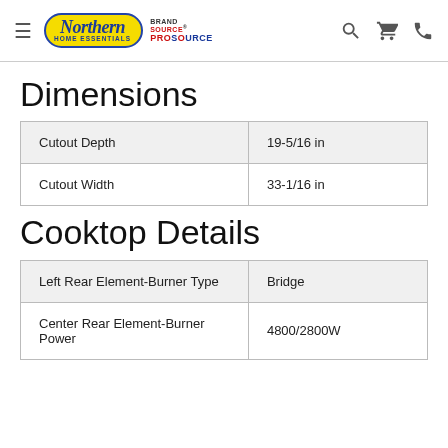Northern Home Essentials | Brand Source ProSource
Dimensions
| Cutout Depth | 19-5/16 in |
| Cutout Width | 33-1/16 in |
Cooktop Details
| Left Rear Element-Burner Type | Bridge |
| Center Rear Element-Burner Power | 4800/2800W |